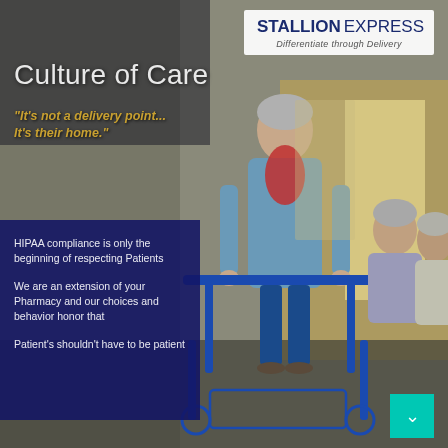[Figure (photo): Elderly women in a care home setting; one standing with a blue walker/rollator, two seated in the background near a window.]
Culture of Care
[Figure (logo): Stallion Express logo with horse head graphic. Tagline: Differentiate through Delivery]
"It's not a delivery point... It's their home."
HIPAA compliance is only the beginning of respecting Patients
We are an extension of your Pharmacy and our choices and behavior honor that
Patient's shouldn't have to be patient